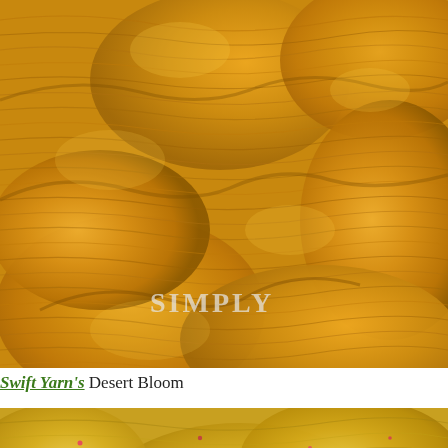[Figure (photo): Close-up photograph of golden-yellow yarn skeins with a 'SIMPLY' watermark text overlaid. The yarn has a warm mustard/amber color and is tightly wound.]
Swift Yarn's Desert Bloom
[Figure (photo): Close-up photograph of golden-yellow yarn skeins with multicolored speckles including pink, red, and green flecks. The yarn has a lighter golden/straw color compared to the top image.]